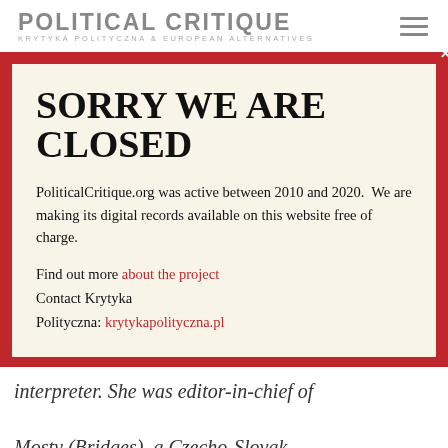POLITICAL CRITIQUE KRYTYKA POLITYCZNA & EUROPEAN ALTERNATIVES
SORRY WE ARE CLOSED
PoliticalCritique.org was active between 2010 and 2020.  We are making its digital records available on this website free of charge.
Find out more about the project
Contact Krytyka Polityczna: krytykapolityczna.pl
interpreter. She was editor-in-chief of

Mosty (Bridges), a Czecho-Slovak